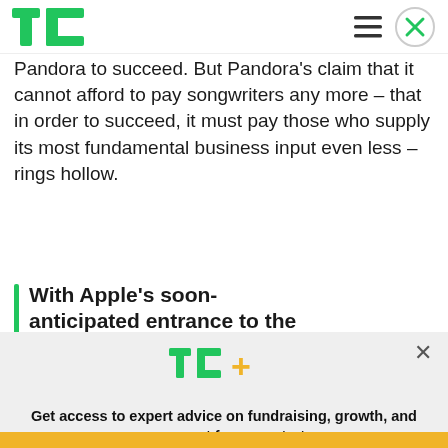TechCrunch
Pandora to succeed. But Pandora's claim that it cannot afford to pay songwriters any more – that in order to succeed, it must pay those who supply its most fundamental business input even less – rings hollow.
With Apple's soon-anticipated entrance to the
[Figure (screenshot): TechCrunch+ subscription modal with TC+ logo, headline 'Get access to expert advice on fundraising, growth, and management for your startup.' and 'EXPLORE NOW' button]